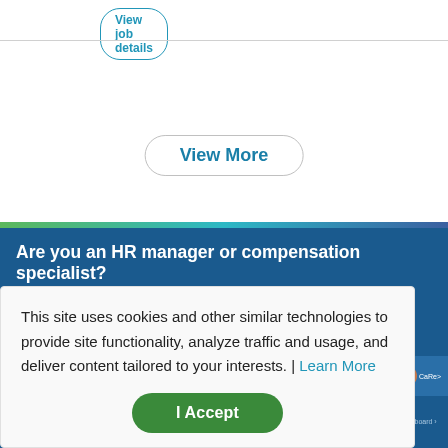View job details
View More
Are you an HR manager or compensation specialist?
Salary.com's CompAnalyst platform offers:
Detailed skills and competency reports for specific positions
Job and employee pricing reports
Compensation data tools, salary structures, surveys and benchmarks
This site uses cookies and other similar technologies to provide site functionality, analyze traffic and usage, and deliver content tailored to your interests. | Learn More
I Accept